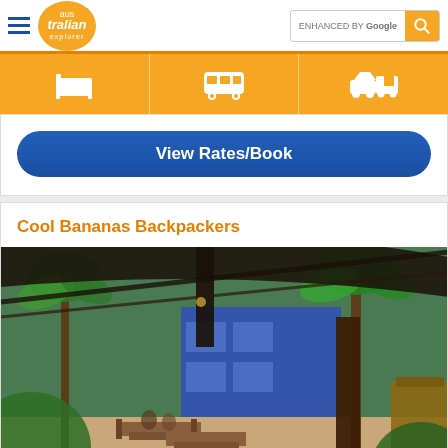australian explorer — ENHANCED BY Google
[Figure (screenshot): Navigation bar with icons: bed/accommodation, bus/transport, car rental]
View Rates/Book
Cool Bananas Backpackers
[Figure (photo): Outdoor courtyard of Cool Bananas Backpackers showing tropical palm trees, wooden picnic tables, blue painted building walls, and a thatched umbrella/shade structure in the foreground]